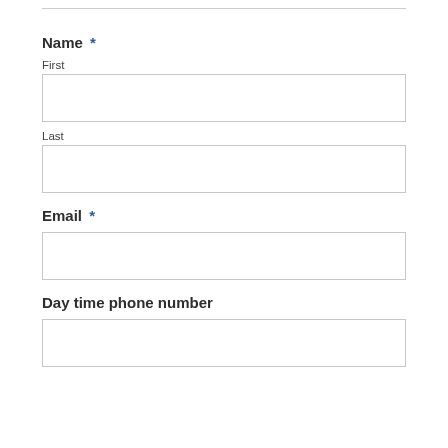Name *
First
Last
Email *
Day time phone number